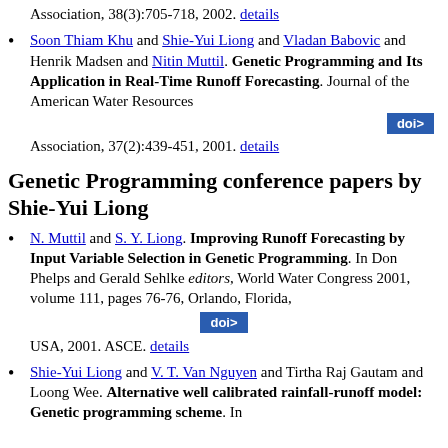Association, 38(3):705-718, 2002. details
Soon Thiam Khu and Shie-Yui Liong and Vladan Babovic and Henrik Madsen and Nitin Muttil. Genetic Programming and Its Application in Real-Time Runoff Forecasting. Journal of the American Water Resources
[Figure (other): doi> button]
Association, 37(2):439-451, 2001. details
Genetic Programming conference papers by Shie-Yui Liong
N. Muttil and S. Y. Liong. Improving Runoff Forecasting by Input Variable Selection in Genetic Programming. In Don Phelps and Gerald Sehlke editors, World Water Congress 2001, volume 111, pages 76-76, Orlando, Florida,
[Figure (other): doi> button]
USA, 2001. ASCE. details
Shie-Yui Liong and V. T. Van Nguyen and Tirtha Raj Gautam and Loong Wee. Alternative well calibrated rainfall-runoff model: Genetic programming scheme. In